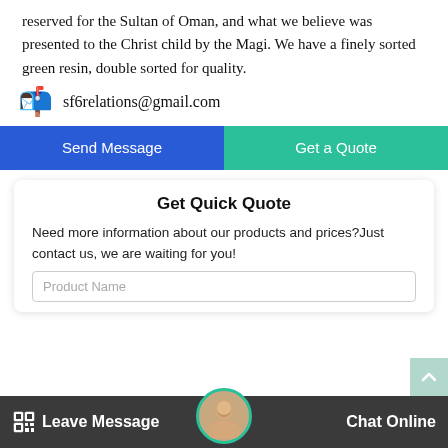reserved for the Sultan of Oman, and what we believe was presented to the Christ child by the Magi. We have a finely sorted green resin, double sorted for quality.
sf6relations@gmail.com
[Figure (screenshot): Send Message and Get a Quote buttons side by side]
Get Quick Quote
Need more information about our products and prices?Just contact us, we are waiting for you!
[Figure (screenshot): Product Name input field]
Leave Message   Chat Online